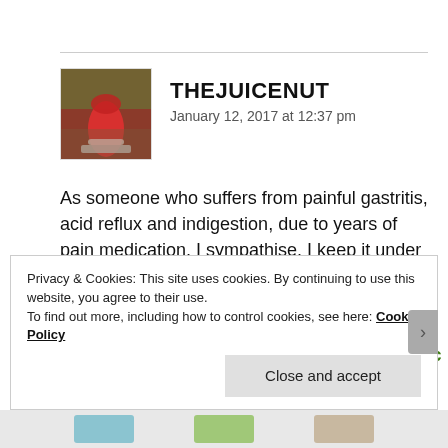[Figure (photo): Avatar photo of a red smoothie/juice drink in a glass on a white plate outdoors]
THEJUICENUT
January 12, 2017 at 12:37 pm
As someone who suffers from painful gastritis, acid reflux and indigestion, due to years of pain medication, I sympathise. I keep it under control with a vegan diet and juicing/blending. I found this article on natural treatments for ulcers: http://www.naturalnews.com/028644_stomach_ulcers_remedies.html Cabbage juice is a well-
Privacy & Cookies: This site uses cookies. By continuing to use this website, you agree to their use.
To find out more, including how to control cookies, see here: Cookie Policy
Close and accept